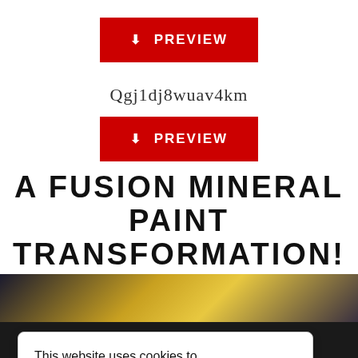[Figure (other): Red PREVIEW button with download icon]
Qgj1dj8wuav4km
[Figure (other): Red PREVIEW button with download icon]
A FUSION MINERAL PAINT TRANSFORMATION!
[Figure (photo): Photo strip of a car transformation scene]
This website uses cookies to ensure you get the best experience on our website. Learn more
[Figure (photo): Bottom photo strip]